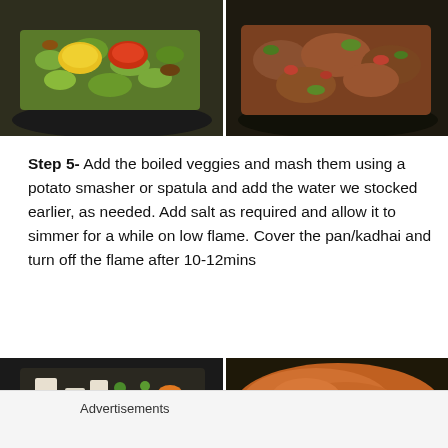[Figure (photo): Two food preparation photos side by side at top: left shows spices (yellow turmeric, red chili) added to chopped vegetables in a dark pan; right shows the mixture after stirring, cooked with tomatoes in a dark pan.]
Step 5- Add the boiled veggies and mash them using a potato smasher or spatula and add the water we stocked earlier, as needed. Add salt as required and allow it to simmer for a while on low flame. Cover the pan/kadhai and turn off the flame after 10-12mins
[Figure (photo): Two food preparation photos side by side at bottom: left shows chopped vegetables (potato, peas, carrot) in a dark pan; right shows mashed/cooked curry mixture in a dark pan.]
Advertisements